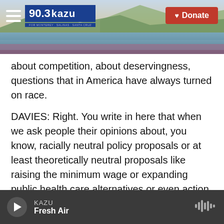[Figure (screenshot): KAZU 90.3 radio station header banner with logo, hamburger menu icon, and red Donate button. Background shows a coastal landscape photo.]
about competition, about deservingness, questions that in America have always turned on race.
DAVIES: Right. You write in here that when we ask people their opinions about, you know, racially neutral policy proposals or at least theoretically neutral proposals like raising the minimum wage or expanding public health care alternatives or even action to prevent climate change, people's opinions were affected by whether they thought that the demographic changes in the United States threatened the status of white people. That seemed to change the way people viewed
KAZU  Fresh Air